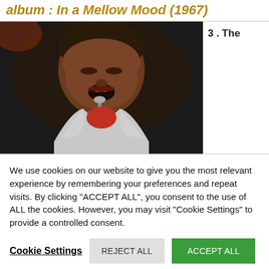album : In a Mellow Mood (1967)
[Figure (photo): A man singing passionately into a microphone, wearing a white jacket and red patterned shirt/tie, against a dark background.]
3 . The
We use cookies on our website to give you the most relevant experience by remembering your preferences and repeat visits. By clicking "ACCEPT ALL", you consent to the use of ALL the cookies. However, you may visit "Cookie Settings" to provide a controlled consent.
Cookie Settings   REJECT ALL   ACCEPT ALL